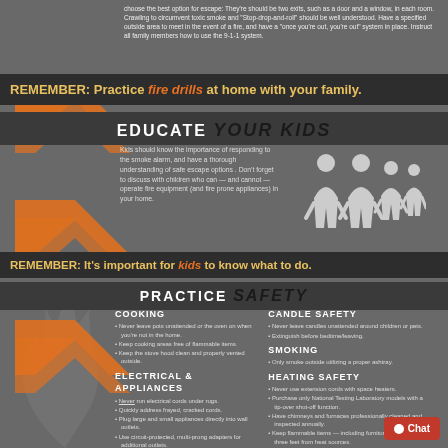choose the best option for escape: They're should be two exits, such as a door and a window, in each room. Crawling to circumvent toxic smoke and "Stop-drop-and-roll" should be well understood. Have a specified outside area to meet in the event of a fire, and have a "once you're out, you're out" system in place. Instruct all family members how to use the 9-1-1 system.
REMEMBER: Practice fire drills at home with your family.
EDUCATE YOUR KIDS
Kids should know the importance of responding to the smoke alarm, and have a thorough understanding of safe escape options. Don't forget to discuss with children who can — and cannot — operate fire equipment (and fire prone appliances) in your home.
[Figure (illustration): White silhouette icons of a family with two adults and two children holding hands]
REMEMBER: It's important for kids to know what to do.
PRACTICE SAFETY
COOKING
• Never leave pots unattended or the oven on when you're not in the home.
• Keep cooking areas free of flammable items.
• Keep the stove hood clean and properly vented outside.

ELECTRICAL & APPLIANCES
• Never run electrical cords under rugs.
• Quickly address frayed, cracked cords.
• Plug large and small appliances directly into wall outlets.
• Use circuit-protected, multi-prong adapters for additional outlets.
• If you use combustion heating or appliances, install a carbon monoxide detector.
• Stay on top of dryer lint and the venting system.
CANDLE SAFETY
• Never leave candles unattended around children or pets.
• Extinguish before bedtime/leaving.

SMOKING
• Only smoke outside utilizing a proper ashtray.

HEATING SAFETY
• Never use extension cords with space heaters.
• Purchase only National Testing Laboratory models with a tip-over shut-off function.
• Have chimneys and furnaces professionally cleaned and inspected annually.
• Keep flammable items — including furniture — at least three feet from heat sources.
• Dispose of fireplace and barbecue ashes in appropriate, covered, metal containers outdoors, at least 2 feet from your home.